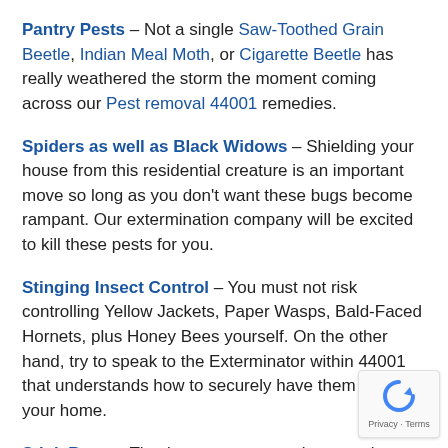Pantry Pests – Not a single Saw-Toothed Grain Beetle, Indian Meal Moth, or Cigarette Beetle has really weathered the storm the moment coming across our Pest removal 44001 remedies.
Spiders as well as Black Widows – Shielding your house from this residential creature is an important move so long as you don't want these bugs become rampant. Our extermination company will be excited to kill these pests for you.
Stinging Insect Control – You must not risk controlling Yellow Jackets, Paper Wasps, Bald-Faced Hornets, plus Honey Bees yourself. On the other hand, try to speak to the Exterminator within 44001 that understands how to securely have them out of your home.
Stink Bugs – They're easy to exterminate, as long as